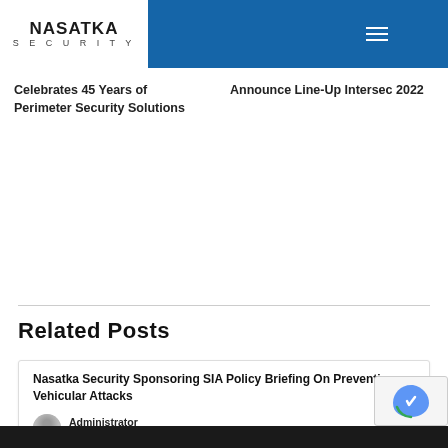NASATKA SECURITY
Celebrates 45 Years of Perimeter Security Solutions
Announce Line-Up Intersec 2022
Related Posts
Nasatka Security Sponsoring SIA Policy Briefing On Preventing Vehicular Attacks
Administrator
July 20, 2021